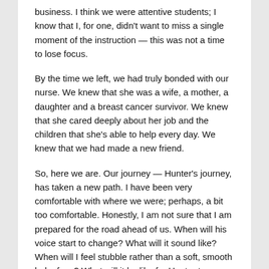business. I think we were attentive students; I know that I, for one, didn't want to miss a single moment of the instruction — this was not a time to lose focus.
By the time we left, we had truly bonded with our nurse. We knew that she was a wife, a mother, a daughter and a breast cancer survivor. We knew that she cared deeply about her job and the children that she's able to help every day. We knew that we had made a new friend.
So, here we are. Our journey — Hunter's journey, has taken a new path. I have been very comfortable with where we were; perhaps, a bit too comfortable. Honestly, I am not sure that I am prepared for the road ahead of us. When will his voice start to change? What will it sound like? When will I feel stubble rather than a soft, smooth baby face? What will it be like for Hunter to go through puberty (again)?
We are hoping to document our weekly “T” times so we can track Hunter's transition during this part of the